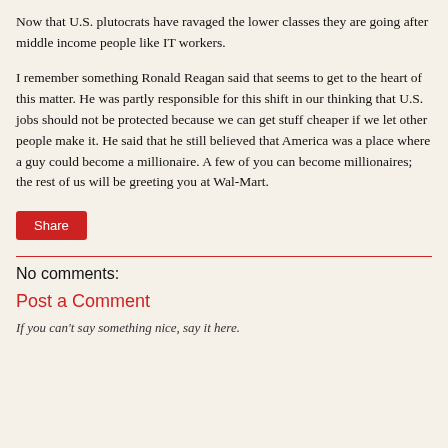Now that U.S. plutocrats have ravaged the lower classes they are going after middle income people like IT workers.
I remember something Ronald Reagan said that seems to get to the heart of this matter. He was partly responsible for this shift in our thinking that U.S. jobs should not be protected because we can get stuff cheaper if we let other people make it. He said that he still believed that America was a place where a guy could become a millionaire. A few of you can become millionaires; the rest of us will be greeting you at Wal-Mart.
[Figure (other): Red Share button]
No comments:
Post a Comment
If you can't say something nice, say it here.